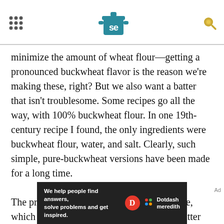Serious Eats header with navigation dots, SE logo, and search icon
minimize the amount of wheat flour—getting a pronounced buckwheat flavor is the reason we're making these, right? But we also want a batter that isn't troublesome. Some recipes go all the way, with 100% buckwheat flour. In one 19th-century recipe I found, the only ingredients were buckwheat flour, water, and salt. Clearly, such simple, pure-buckwheat versions have been made for a long time.
The problem is that buckwheat is gluten-free, which means that, on its own, it creates a batter that's very hard to work with. No gluten means
[Figure (other): Dotdash Meredith advertisement banner: 'We help people find answers, solve problems and get inspired.' with Dotdash Meredith logo]